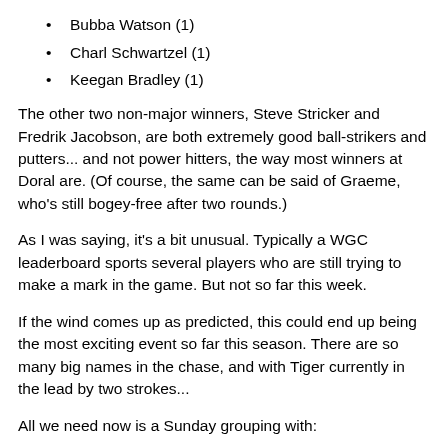Bubba Watson (1)
Charl Schwartzel (1)
Keegan Bradley (1)
The other two non-major winners, Steve Stricker and Fredrik Jacobson, are both extremely good ball-strikers and putters... and not power hitters, the way most winners at Doral are. (Of course, the same can be said of Graeme, who's still bogey-free after two rounds.)
As I was saying, it's a bit unusual. Typically a WGC leaderboard sports several players who are still trying to make a mark in the game. But not so far this week.
If the wind comes up as predicted, this could end up being the most exciting event so far this season. There are so many big names in the chase, and with Tiger currently in the lead by two strokes...
All we need now is a Sunday grouping with:
Tiger, Phil, Stricks